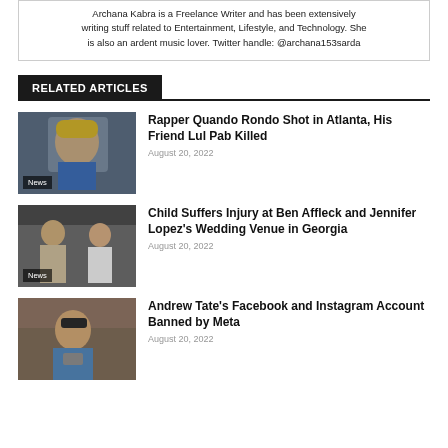Archana Kabra is a Freelance Writer and has been extensively writing stuff related to Entertainment, Lifestyle, and Technology. She is also an ardent music lover. Twitter handle: @archana153sarda
RELATED ARTICLES
[Figure (photo): Photo of rapper Quando Rondo with yellow headband and denim jacket]
Rapper Quando Rondo Shot in Atlanta, His Friend Lul Pab Killed
August 20, 2022
[Figure (photo): Photo of Ben Affleck and Jennifer Lopez walking together]
Child Suffers Injury at Ben Affleck and Jennifer Lopez's Wedding Venue in Georgia
August 20, 2022
[Figure (photo): Photo of Andrew Tate on a private jet looking at phone]
Andrew Tate's Facebook and Instagram Account Banned by Meta
August 20, 2022